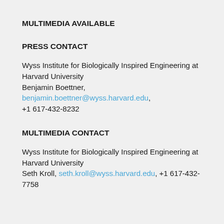MULTIMEDIA AVAILABLE
PRESS CONTACT
Wyss Institute for Biologically Inspired Engineering at Harvard University
Benjamin Boettner, benjamin.boettner@wyss.harvard.edu, +1 617-432-8232
MULTIMEDIA CONTACT
Wyss Institute for Biologically Inspired Engineering at Harvard University
Seth Kroll, seth.kroll@wyss.harvard.edu, +1 617-432-7758